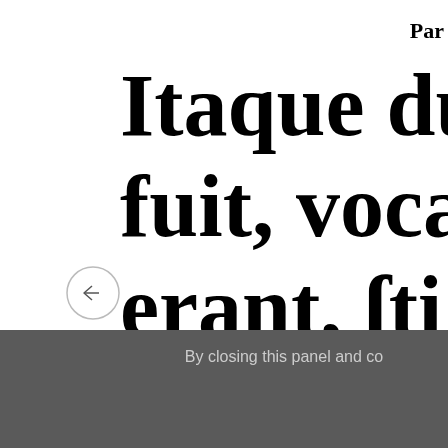Par
Itaque dum fuit, vocav erant, sti ad nutum
[Figure (other): Navigation arrow circle button pointing left]
By closing this panel and co